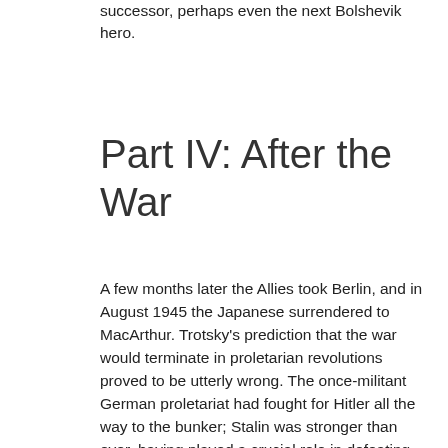successor, perhaps even the next Bolshevik hero.
Part IV: After the War
A few months later the Allies took Berlin, and in August 1945 the Japanese surrendered to MacArthur. Trotsky's prediction that the war would terminate in proletarian revolutions proved to be utterly wrong. The once-militant German proletariat had fought for Hitler all the way to the bunker; Stalin was stronger than ever, having played a crucial role in defeating Hitler; and in the capitalist countries, the workers had supported their national war efforts almost universally. The allegedly unshakable